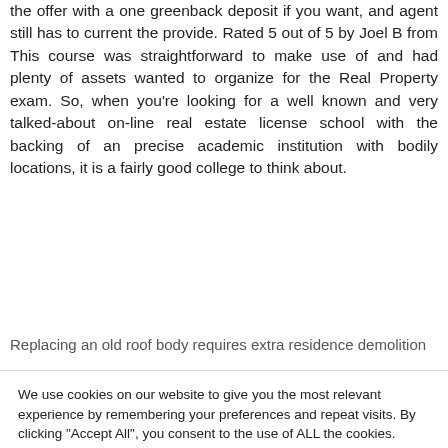the offer with a one greenback deposit if you want, and agent still has to current the provide. Rated 5 out of 5 by Joel B from This course was straightforward to make use of and had plenty of assets wanted to organize for the Real Property exam. So, when you’re looking for a well known and very talked-about on-line real estate license school with the backing of an precise academic institution with bodily locations, it is a fairly good college to think about.
Replacing an old roof body requires extra residence demolition
We use cookies on our website to give you the most relevant experience by remembering your preferences and repeat visits. By clicking "Accept All", you consent to the use of ALL the cookies. However, you may visit "Cookie Settings" to provide a controlled consent.